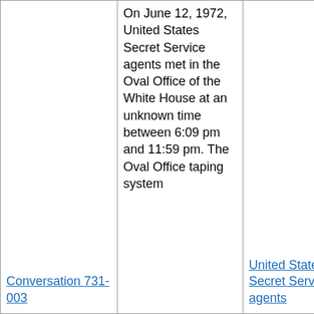| Conversation 731-003 | On June 12, 1972, United States Secret Service agents met in the Oval Office of the White House at an unknown time between 6:09 pm and 11:59 pm. The Oval Office taping system | United States Secret Service agents |